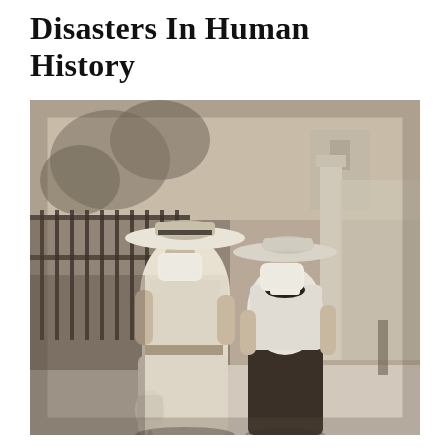Disasters In Human History
[Figure (photo): Vintage sepia-toned photograph of two women walking on a city sidewalk, both wearing wide-brimmed hats and cloth face masks over their mouths and noses. The woman on the left wears a light-colored lace dress and carries a beaded bag. The woman on the right wears a white blouse and dark skirt with a dark bow/cravat. An iron fence and trees are visible in the background. Likely taken during the 1918 Spanish Flu pandemic.]